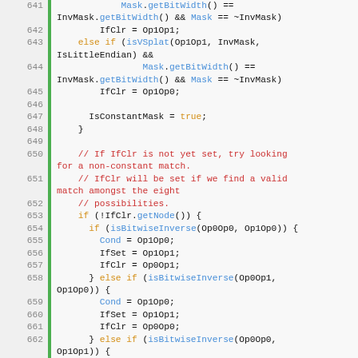Source code lines 641-666, C++ code showing bit manipulation logic with isBitwiseInverse checks and isVSplat conditions.